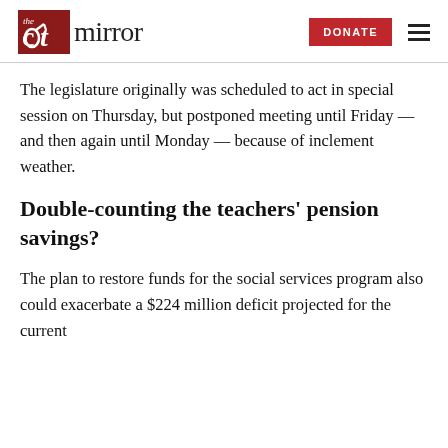the ct mirror | DONATE
The legislature originally was scheduled to act in special session on Thursday, but postponed meeting until Friday — and then again until Monday — because of inclement weather.
Double-counting the teachers' pension savings?
The plan to restore funds for the social services program also could exacerbate a $224 million deficit projected for the current